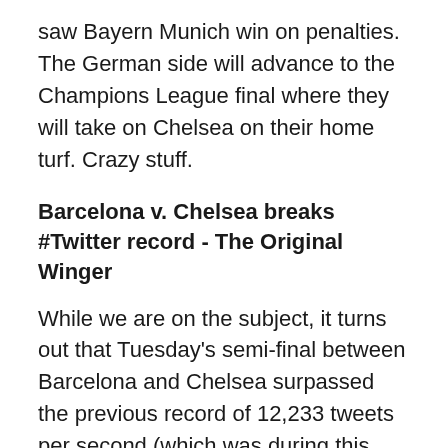saw Bayern Munich win on penalties. The German side will advance to the Champions League final where they will take on Chelsea on their home turf. Crazy stuff.
Barcelona v. Chelsea breaks #Twitter record - The Original Winger
While we are on the subject, it turns out that Tuesday's semi-final between Barcelona and Chelsea surpassed the previous record of 12,233 tweets per second (which was during this year's Super Bowl). Click to find out how many tweets per second the new record is at now.
CCL: Late goal crushes title dreams for Gomez, Santos - MLSSoccer.com
Last night was also the CONCACAF Champions